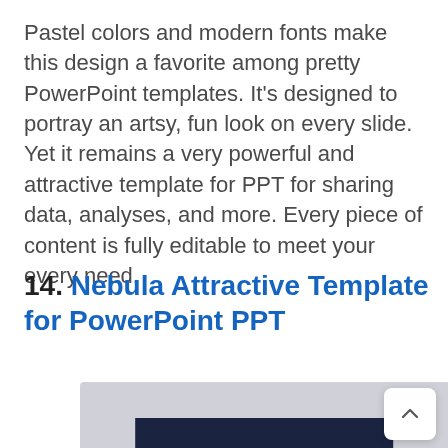Pastel colors and modern fonts make this design a favorite among pretty PowerPoint templates. It's designed to portray an artsy, fun look on every slide. Yet it remains a very powerful and attractive template for PPT for sharing data, analyses, and more. Every piece of content is fully editable to meet your every need.
14. Nebula Attractive Template for PowerPoint PPT
[Figure (screenshot): Partial screenshot of a PowerPoint template preview with dark header area, shown at the bottom of the page]